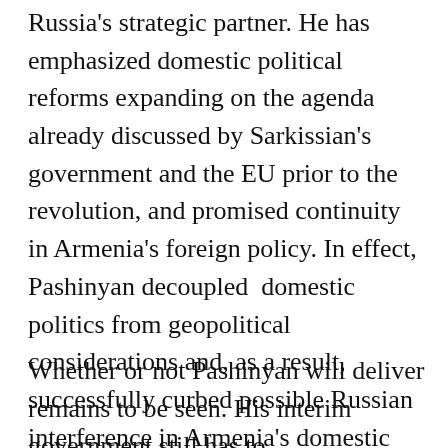Russia's strategic partner. He has emphasized domestic political reforms expanding on the agenda already discussed by Sarkissian's government and the EU prior to the revolution, and promised continuity in Armenia's foreign policy. In effect, Pashinyan decoupled  domestic politics from geopolitical considerations and, as a result, successfully curbed possible Russian interference in Armenia's domestic politics – at least for now.
Whether or not Pashinyan will deliver remains to be seen. His interim government still has to